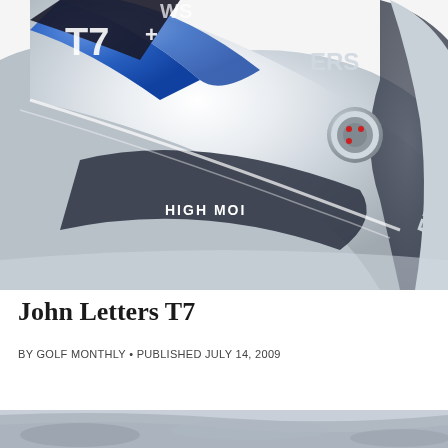[Figure (photo): Close-up photograph of a John Letters T7 golf iron club head showing blue and silver coloring with 'HIGH MOI' text on the sole, a circular weight port, and '57' number visible on the hosel area. Partial branding text visible reads 'WS' and 'ERS'.]
John Letters T7
BY GOLF MONTHLY • PUBLISHED JULY 14, 2009
[Figure (photo): Partially visible image at the bottom of the page, appears to be another view of golf equipment, cropped.]